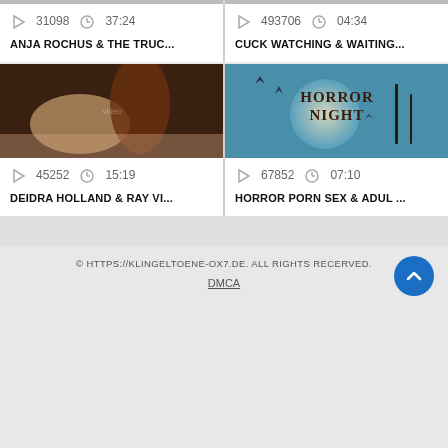[Figure (screenshot): Video thumbnail top-left, partially cropped]
[Figure (screenshot): Video thumbnail top-right, partially cropped]
31098   37:24
493706   04:34
ANJA ROCHUS & THE TRUC...
CUCK WATCHING & WAITING...
[Figure (photo): Adult video thumbnail showing people]
[Figure (illustration): Horror Night graphic with bats and moon]
45252   15:19
67852   07:10
DEIDRA HOLLAND & RAY VI...
HORROR PORN SEX & ADUL ...
© HTTPS://KLINGELTOENE-OX7.DE. ALL RIGHTS RECERVED.
DMCA